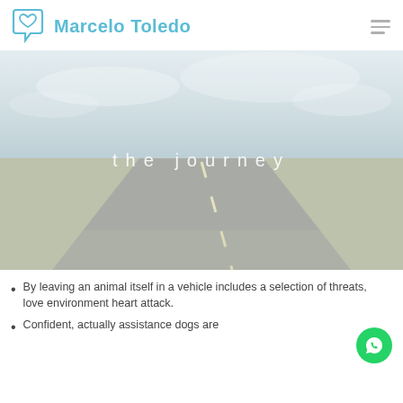Marcelo Toledo
[Figure (photo): A long straight road stretching to the horizon through a flat landscape with a pale sky, overlaid with the text 'the journey' in white spaced letters]
the journey
By leaving an animal itself in a vehicle includes a selection of threats, love environment heart attack.
Confident, actually assistance dogs are